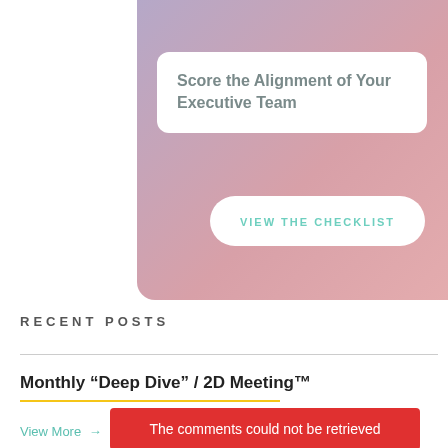[Figure (screenshot): Partial view of a card widget with a gradient background (purple-pink-red) containing a white box with title 'Score the Alignment of Your Executive Team' and a 'VIEW THE CHECKLIST' button]
RECENT POSTS
Monthly “Deep Dive” / 2D Meeting™
The comments could not be retrieved
View More →